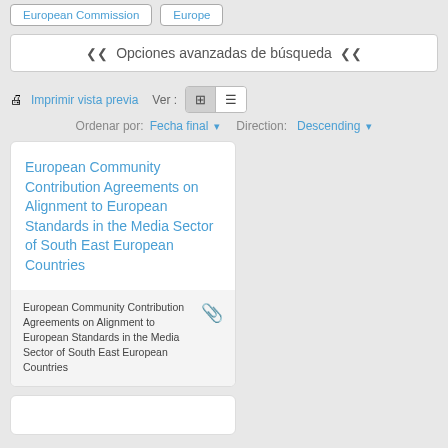European Commission | Europe
Opciones avanzadas de búsqueda
Imprimir vista previa  Ver :  [grid] [list]  Ordenar por: Fecha final ▾  Direction: Descending ▾
European Community Contribution Agreements on Alignment to European Standards in the Media Sector of South East European Countries
European Community Contribution Agreements on Alignment to European Standards in the Media Sector of South East European Countries